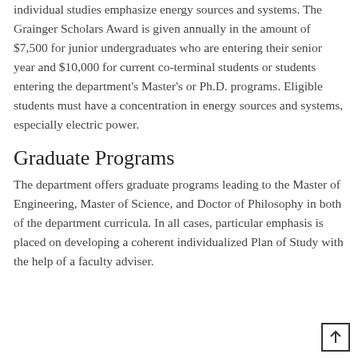individual studies emphasize energy sources and systems. The Grainger Scholars Award is given annually in the amount of $7,500 for junior undergraduates who are entering their senior year and $10,000 for current co-terminal students or students entering the department's Master's or Ph.D. programs. Eligible students must have a concentration in energy sources and systems, especially electric power.
Graduate Programs
The department offers graduate programs leading to the Master of Engineering, Master of Science, and Doctor of Philosophy in both of the department curricula. In all cases, particular emphasis is placed on developing a coherent individualized Plan of Study with the help of a faculty adviser.